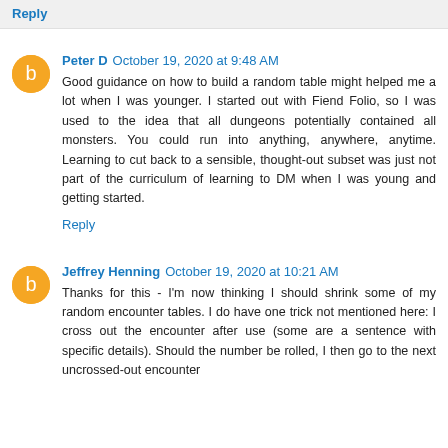Reply
Peter D  October 19, 2020 at 9:48 AM
Good guidance on how to build a random table might helped me a lot when I was younger. I started out with Fiend Folio, so I was used to the idea that all dungeons potentially contained all monsters. You could run into anything, anywhere, anytime. Learning to cut back to a sensible, thought-out subset was just not part of the curriculum of learning to DM when I was young and getting started.
Reply
Jeffrey Henning  October 19, 2020 at 10:21 AM
Thanks for this - I'm now thinking I should shrink some of my random encounter tables. I do have one trick not mentioned here: I cross out the encounter after use (some are a sentence with specific details). Should the number be rolled, I then go to the next uncrossed-out encounter